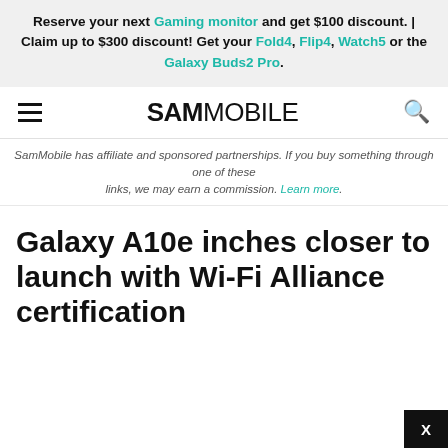Reserve your next Gaming monitor and get $100 discount. | Claim up to $300 discount! Get your Fold4, Flip4, Watch5 or the Galaxy Buds2 Pro.
SAMMOBILE
SamMobile has affiliate and sponsored partnerships. If you buy something through one of these links, we may earn a commission. Learn more.
Galaxy A10e inches closer to launch with Wi-Fi Alliance certification